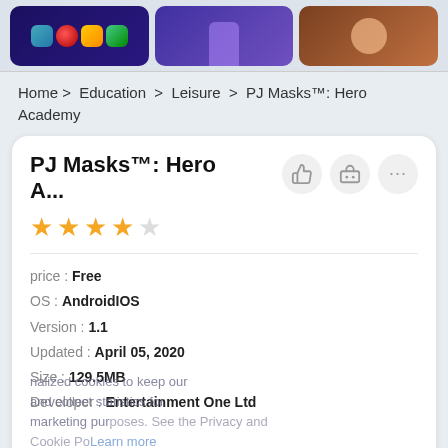[Figure (screenshot): Three app icon thumbnails in a row at the top of the page]
Home > Education > Leisure > PJ Masks™: Hero Academy
PJ Masks™: Hero A...
★★★★☆ (4 stars)
| price : | Free |
| OS : | AndroidIOS |
| Version : | 1.1 |
| Updated : | April 05, 2020 |
| Size : | 129.5MB |
| Developer : | Entertainment One Ltd |
Accept
BUY NOW